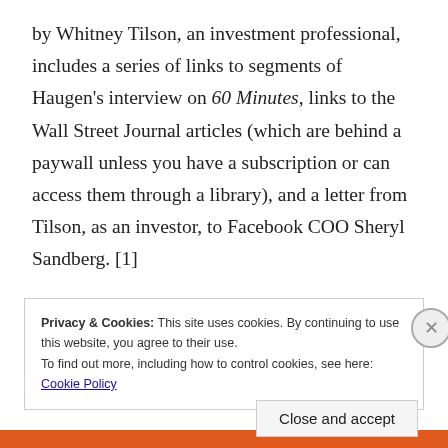by Whitney Tilson, an investment professional, includes a series of links to segments of Haugen's interview on 60 Minutes, links to the Wall Street Journal articles (which are behind a paywall unless you have a subscription or can access them through a library), and a letter from Tilson, as an investor, to Facebook COO Sheryl Sandberg. [1]
Privacy & Cookies: This site uses cookies. By continuing to use this website, you agree to their use.
To find out more, including how to control cookies, see here:
Cookie Policy
Close and accept